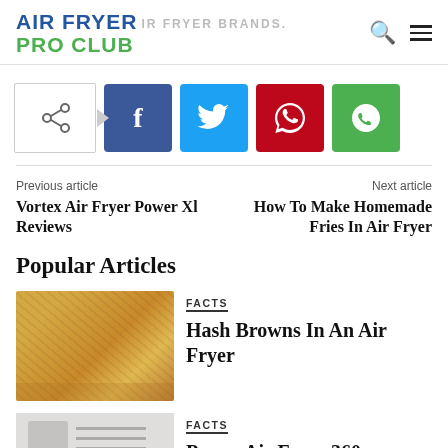AIR FRYER PRO CLUB | AIR FRYER BRANDS...
[Figure (screenshot): Social share buttons: share icon outline, Facebook, Twitter, Pinterest, WhatsApp]
Previous article
Vortex Air Fryer Power Xl Reviews
Next article
How To Make Homemade Fries In Air Fryer
Popular Articles
[Figure (photo): Photo of golden hash browns]
FACTS
Hash Browns In An Air Fryer
[Figure (photo): Photo of a kitchen appliance, white/grey]
FACTS
Power Air Fryer 360